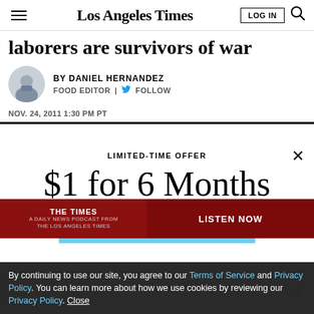Los Angeles Times
laborers are survivors of war
BY DANIEL HERNANDEZ
FOOD EDITOR | FOLLOW
NOV. 24, 2011 1:30 PM PT
LIMITED-TIME OFFER
$1 for 6 Months
SUBSCRIBE NOW
By continuing to use our site, you agree to our Terms of Service and Privacy Policy. You can learn more about how we use cookies by reviewing our Privacy Policy. Close